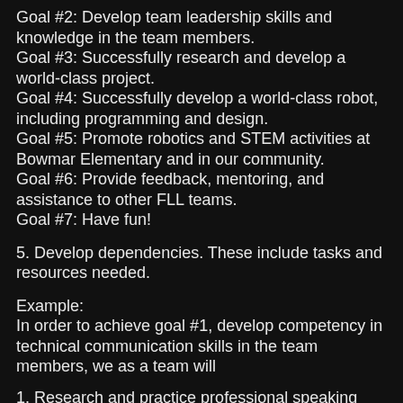Goal #2: Develop team leadership skills and knowledge in the team members.
Goal #3: Successfully research and develop a world-class project.
Goal #4: Successfully develop a world-class robot, including programming and design.
Goal #5: Promote robotics and STEM activities at Bowmar Elementary and in our community.
Goal #6: Provide feedback, mentoring, and assistance to other FLL teams.
Goal #7: Have fun!
5. Develop dependencies. These include tasks and resources needed.
Example:
In order to achieve goal #1, develop competency in technical communication skills in the team members, we as a team will
1. Research and practice professional speaking skills
2. Research and practice professional presentation skills
3. Research and practice professional writing skills